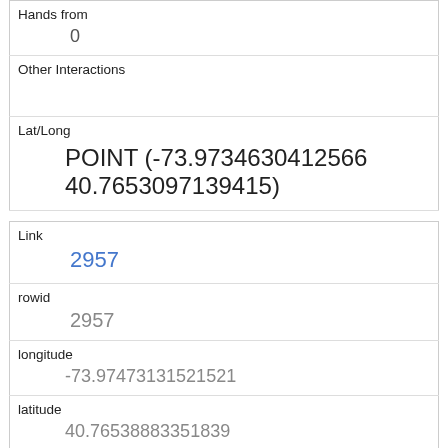| Hands from | 0 |
| Other Interactions |  |
| Lat/Long | POINT (-73.9734630412566 40.7653097139415) |
| Link | 2957 |
| rowid | 2957 |
| longitude | -73.97473131521521 |
| latitude | 40.76538883351839 |
| Unique Squirrel ID | 1G-PM-1010-03 |
| Hectare | 01G |
| Shift | PM |